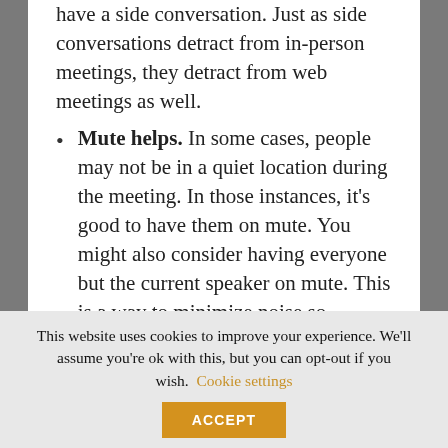have a side conversation. Just as side conversations detract from in-person meetings, they detract from web meetings as well.
Mute helps. In some cases, people may not be in a quiet location during the meeting. In those instances, it's good to have them on mute. You might also consider having everyone but the current speaker on mute. This is a way to minimize noise so everyone can hear and ensure that people aren't talking over each other. Depending on the system, people can take themselves off mute to talk, they can raise their hand, or they can add their thoughts via chat.
This website uses cookies to improve your experience. We'll assume you're ok with this, but you can opt-out if you wish. Cookie settings ACCEPT